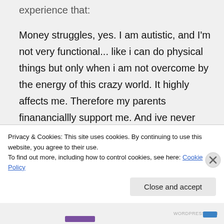experience that:
Money struggles, yes. I am autistic, and I'm not very functional... like i can do physical things but only when i am not overcome by the energy of this crazy world. It highly affects me. Therefore my parents finananciallly support me. And ive never relaxed into that. Before my autism increased in its symptoms, I was super functional and overly
Privacy & Cookies: This site uses cookies. By continuing to use this website, you agree to their use.
To find out more, including how to control cookies, see here: Cookie Policy